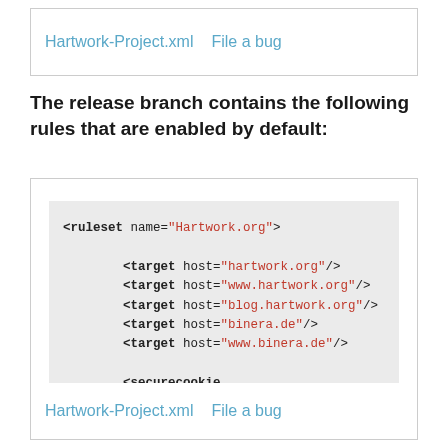Hartwork-Project.xml   File a bug
The release branch contains the following rules that are enabled by default:
<ruleset name="Hartwork.org">

        <target host="hartwork.org"/>
        <target host="www.hartwork.org"/>
        <target host="blog.hartwork.org"/>
        <target host="binera.de"/>
        <target host="www.binera.de"/>

        <securecookie host="^blog\.hartwork\

        <rule from="^http:" to="https:"/>

</ruleset>
Hartwork-Project.xml   File a bug